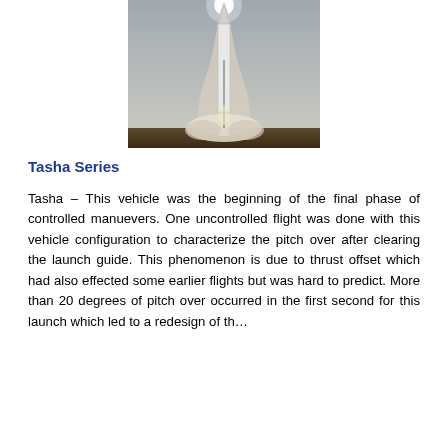[Figure (photo): Rocket launch photograph showing a rocket ascending with exhaust trail against a grey sky, taken from ground level]
Tasha Series
Tasha – This vehicle was the beginning of the final phase of controlled manuevers. One uncontrolled flight was done with this vehicle configuration to characterize the pitch over after clearing the launch guide. This phenomenon is due to thrust offset which had also effected some earlier flights but was hard to predict. More than 20 degrees of pitch over occurred in the first second for this launch which led to a redesign of the…